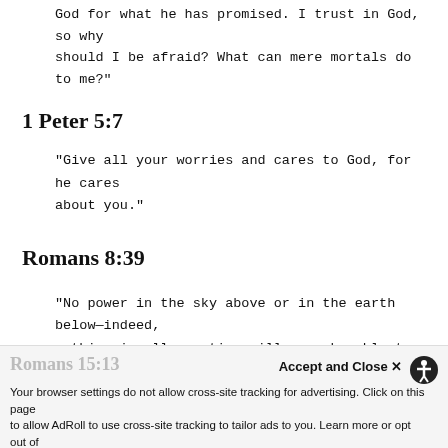God for what he has promised. I trust in God, so why should I be afraid? What can mere mortals do to me?"
1 Peter 5:7
"Give all your worries and cares to God, for he cares about you."
Romans 8:39
"No power in the sky above or in the earth below—indeed, nothing in all creation will ever be able to separate us from the steadfast love of God that is revealed in Christ Jesus our Lord."
Romans 15:13 | Accept and Close ✕ | Your browser settings do not allow cross-site tracking for advertising. Click on this page to allow AdRoll to use cross-site tracking to tailor ads to you. Learn more or opt out of this AdRoll tracking by clicking here. This message only appears once. | "I pray that God, the source of hope, will fill you